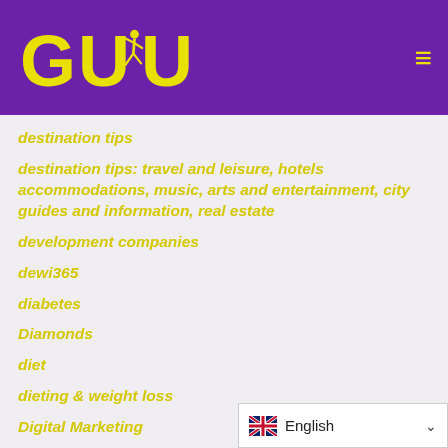[Figure (logo): GUDU logo with yellow running figure on purple background header]
destination tips
destination tips: travel and leisure, hotels accommodations, music, arts and entertainment, city guides and information, real estate
development companies
dewi365
diabetes
Diamonds
diet
dieting & weight loss
Digital Marketing
dingdong 36d
Disability